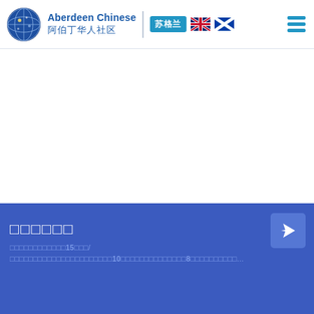Aberdeen Chinese 阿伯丁华人社区 | 苏格兰 [UK flag] [Scotland flag] [Menu]
[Figure (logo): Aberdeen Chinese Community logo with globe icon, English and Chinese text, Scotland badge, UK and Scotland flags, and hamburger menu icon]
□□□□□□
□□□□□□□□□□□□15□□□/□□□□□□□□□□□□□□□□□□□□□□10□□□□□□□□□□□□□□8□□□□□□□□□□□...